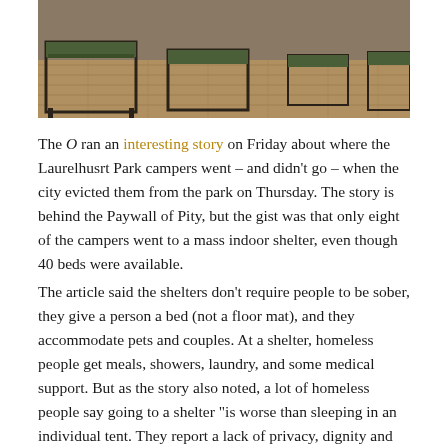[Figure (photo): Interior photo of a shelter room with military-style cot beds on a wooden floor]
The O ran an interesting story on Friday about where the Laurelhusrt Park campers went – and didn't go – when the city evicted them from the park on Thursday. The story is behind the Paywall of Pity, but the gist was that only eight of the campers went to a mass indoor shelter, even though 40 beds were available.
The article said the shelters don't require people to be sober, they give a person a bed (not a floor mat), and they accommodate pets and couples. At a shelter, homeless people get meals, showers, laundry, and some medical support. But as the story also noted, a lot of homeless people say going to a shelter "is worse than sleeping in an individual tent. They report a lack of privacy, dignity and safety."